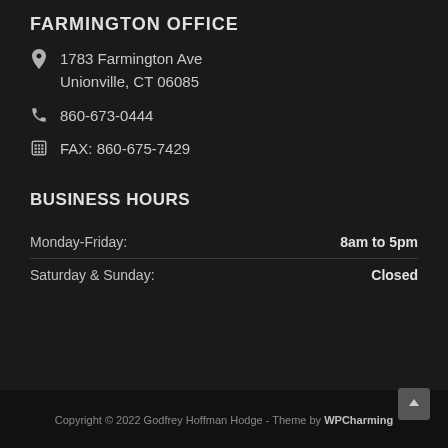FARMINGTON OFFICE
1783 Farmington Ave
Unionville, CT 06085
860-673-0444
FAX: 860-675-7429
BUSINESS HOURS
| Day | Hours |
| --- | --- |
| Monday-Friday: | 8am to 5pm |
| Saturday & Sunday: | Closed |
Copyright © 2022 Godfrey Hoffman Hodge - Theme by WPCharming